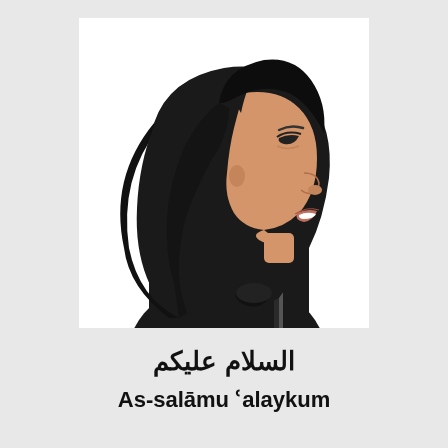[Figure (photo): Side profile photograph of a woman wearing a black hijab and black abaya, smiling, against a white background]
السلام عليكم
As-salāmu ʿalaykum